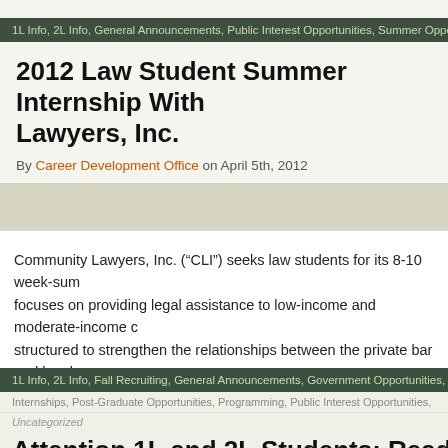1L Info, 2L Info, General Announcements, Public Interest Opportunities, Summer Oppor...
2012 Law Student Summer Internship With Lawyers, Inc.
By Career Development Office on April 5th, 2012
Community Lawyers, Inc. (“CLI”) seeks law students for its 8-10 week-sum... focuses on providing legal assistance to low-income and moderate-income c... structured to strengthen the relationships between the private bar and legal a... Californiato increase the options available to legal services consumers. The
1L Info, 2L Info, Fall Recruiting, General Announcements, Government Opportunities, In...
Internships, Post-Graduate Opportunities, Programming, Public Interest Opportunities, ...
Uncategorized
Attention 1L and 2L Students: Read the CD...